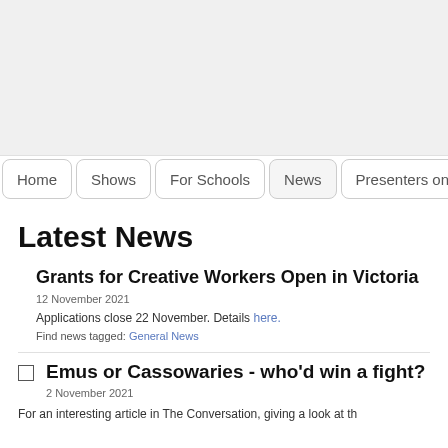[Figure (other): Gray header banner area at top of page]
Home | Shows | For Schools | News | Presenters on S
Latest News
Grants for Creative Workers Open in Victoria
12 November 2021
Applications close 22 November. Details here.
Find news tagged: General News
Emus or Cassowaries - who'd win a fight?
2 November 2021
For an interesting article in The Conversation, giving a look at th...